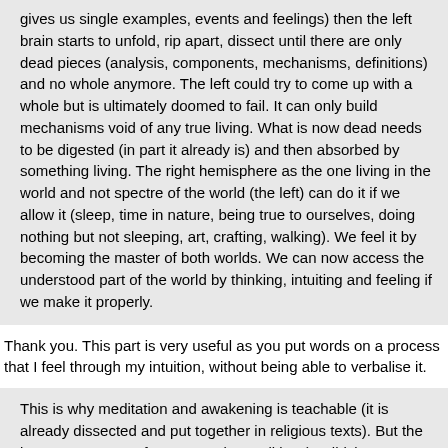gives us single examples, events and feelings) then the left brain starts to unfold, rip apart, dissect until there are only dead pieces (analysis, components, mechanisms, definitions) and no whole anymore. The left could try to come up with a whole but is ultimately doomed to fail. It can only build mechanisms void of any true living. What is now dead needs to be digested (in part it already is) and then absorbed by something living. The right hemisphere as the one living in the world and not spectre of the world (the left) can do it if we allow it (sleep, time in nature, being true to ourselves, doing nothing but not sleeping, art, crafting, walking). We feel it by becoming the master of both worlds. We can now access the understood part of the world by thinking, intuiting and feeling if we make it properly.
Thank you. This part is very useful as you put words on a process that I feel through my intuition, without being able to verbalise it.
This is why meditation and awakening is teachable (it is already dissected and put together in religious texts). But the journey must start from a certain condition (Bodhicitta, accepting Christ and all the other pictures the religions came up with), go through formalisation and end with something that is not communicable nor teachable (the actual experience(s)).